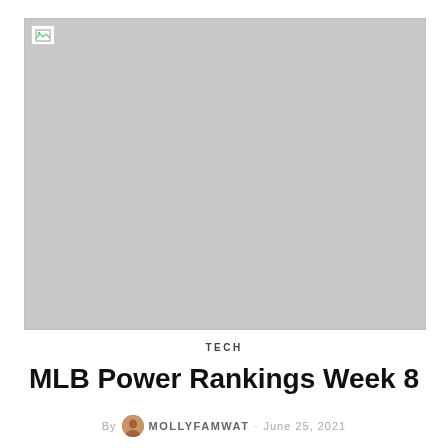[Figure (photo): Large placeholder image with gray background and broken image icon in top-left corner]
TECH
MLB Power Rankings Week 8
By MOLLYFAMWAT · June 25, 2021